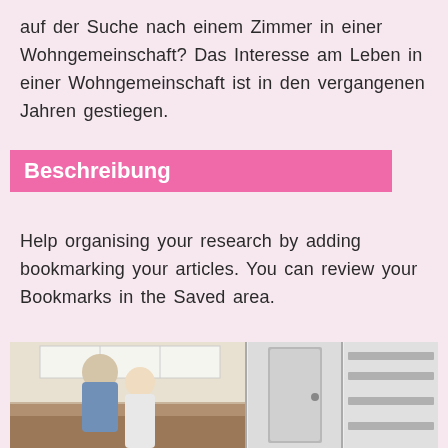auf der Suche nach einem Zimmer in einer Wohngemeinschaft? Das Interesse am Leben in einer Wohngemeinschaft ist in den vergangenen Jahren gestiegen.
Beschreibung
Help organising your research by adding bookmarking your articles. You can review your Bookmarks in the Saved area.
[Figure (photo): Two photos side by side showing apartment interior scenes: left photo shows two people (a man and a woman) in a kitchen, right photos show interior room/cabinet views.]